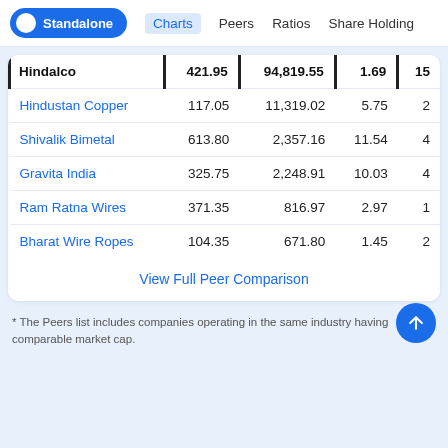Standalone  Charts  Peers  Ratios  Share Holding
| Company | Price | Market Cap | P/B |  |
| --- | --- | --- | --- | --- |
| Hindalco | 421.95 | 94,819.55 | 1.69 | 15 |
| Hindustan Copper | 117.05 | 11,319.02 | 5.75 | 2 |
| Shivalik Bimetal | 613.80 | 2,357.16 | 11.54 | 4 |
| Gravita India | 325.75 | 2,248.91 | 10.03 | 4 |
| Ram Ratna Wires | 371.35 | 816.97 | 2.97 | 1 |
| Bharat Wire Ropes | 104.35 | 671.80 | 1.45 | 2 |
View Full Peer Comparison
* The Peers list includes companies operating in the same industry having comparable market cap.